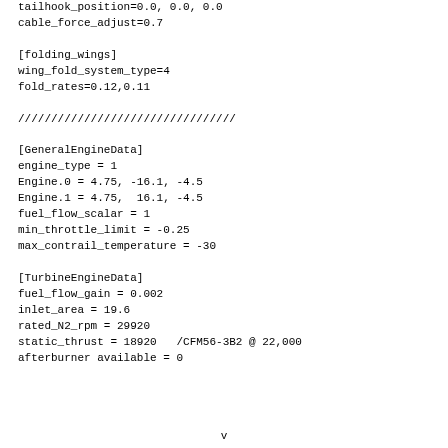tailhook_position=0.0, 0.0, 0.0
cable_force_adjust=0.7

[folding_wings]
wing_fold_system_type=4
fold_rates=0.12,0.11

/////////////////////////////////

[GeneralEngineData]
engine_type = 1
Engine.0 = 4.75, -16.1, -4.5
Engine.1 = 4.75,  16.1, -4.5
fuel_flow_scalar = 1
min_throttle_limit = -0.25
max_contrail_temperature = -30

[TurbineEngineData]
fuel_flow_gain = 0.002
inlet_area = 19.6
rated_N2_rpm = 29920
static_thrust = 18920   /CFM56-3B2 @ 22,000
afterburner available = 0
v